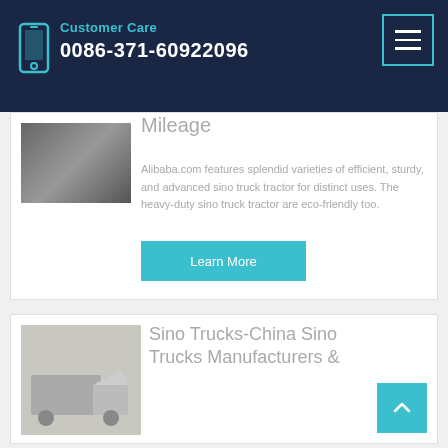Customer Care 0086-371-60922096
Mileage
Alibaba.com features splendid varieties of efficient, sturdy, and advanced sino truck tractor for distinct uses. The heavy-duty sino truck tractor are eco-friendly too.
Learn More
Sino Trucks-China Sino Trucks Manufacturers &
[Figure (photo): Photo of a truck/tractor vehicle, card 1]
[Figure (photo): Photo of a white Sino truck tractor, card 2]